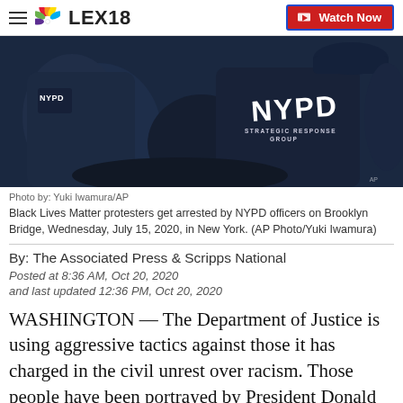LEX18 | Watch Now
[Figure (photo): NYPD officers in dark uniforms, Strategic Response Group patch visible, making an arrest on Brooklyn Bridge during Black Lives Matter protest]
Photo by: Yuki Iwamura/AP
Black Lives Matter protesters get arrested by NYPD officers on Brooklyn Bridge, Wednesday, July 15, 2020, in New York. (AP Photo/Yuki Iwamura)
By: The Associated Press & Scripps National
Posted at 8:36 AM, Oct 20, 2020
and last updated 12:36 PM, Oct 20, 2020
WASHINGTON — The Department of Justice is using aggressive tactics against those it has charged in the civil unrest over racism. Those people have been portrayed by President Donald Trump as violent left-